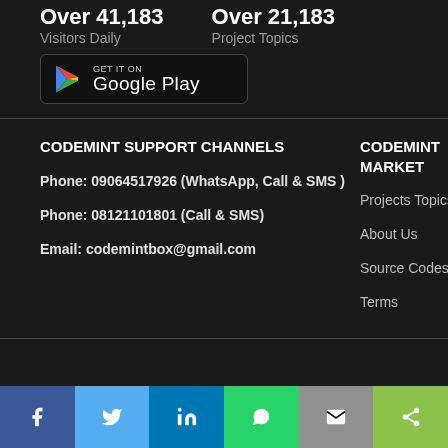Over 41,183 Visitors Daily
Over 21,183 Project Topics
[Figure (logo): GET IT ON Google Play button]
CODEMINT SUPPORT CHANNELS
CODEMINT MARKET
OUR COM
Phone: 09064517926 (WhatsApp, Call & SMS )
Phone: 08121101801 (Call & SMS)
Email: codemintbox@gmail.com
Projects Topics
About Us
Source Codes
Terms
Face
Blog
News
Free
[Figure (infographic): Social share bar with Facebook, Twitter, LinkedIn, WhatsApp, Email, Share buttons]